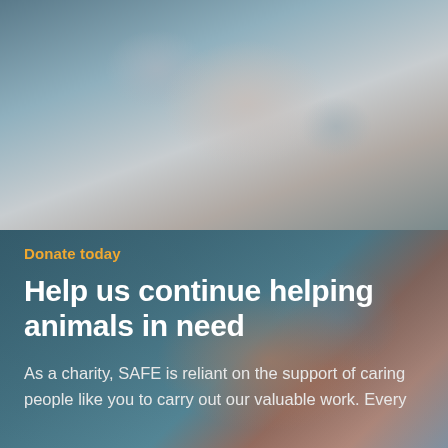[Figure (photo): Blurred close-up photo of animals, showing soft muted tones of grey, white and beige - likely cats or small animals being held or cuddled. Top half of page.]
[Figure (photo): Blurred close-up photo with warmer tones, showing what appears to be an animal (fur/paw detail) against a teal/blue-grey background. Bottom half background image.]
Donate today
Help us continue helping animals in need
As a charity, SAFE is reliant on the support of caring people like you to carry out our valuable work. Every